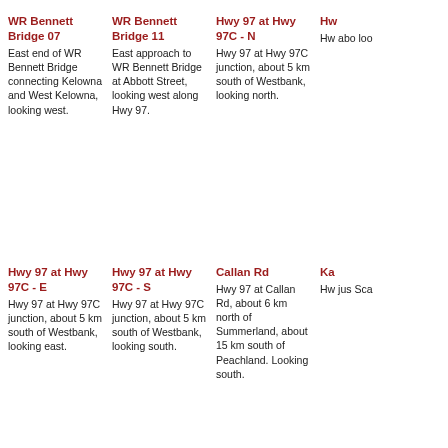WR Bennett Bridge 07 — East end of WR Bennett Bridge connecting Kelowna and West Kelowna, looking west.
WR Bennett Bridge 11 — East approach to WR Bennett Bridge at Abbott Street, looking west along Hwy 97.
Hwy 97 at Hwy 97C - N — Hwy 97 at Hwy 97C junction, about 5 km south of Westbank, looking north.
Hw... — Hw... abo... loo...
Hwy 97 at Hwy 97C - E — Hwy 97 at Hwy 97C junction, about 5 km south of Westbank, looking east.
Hwy 97 at Hwy 97C - S — Hwy 97 at Hwy 97C junction, about 5 km south of Westbank, looking south.
Callan Rd — Hwy 97 at Callan Rd, about 6 km north of Summerland, about 15 km south of Peachland. Looking south.
Ka... — Hw... jus... Sca...
Kaleden - W — Hwy 97 at Hwy 3A junction, just south of Kaleden Weigh Scale, looking west.
Kaleden - S — Hwy 97 at Hwy 3A junction, just south of Kaleden Weigh Scale, looking south.